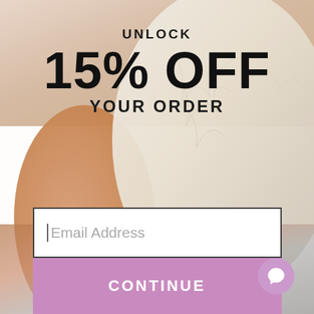[Figure (photo): Background photo of a person petting or hugging a light-colored fluffy dog/cat, warm tones, blurred background]
UNLOCK
15% OFF
YOUR ORDER
Email Address
CONTINUE